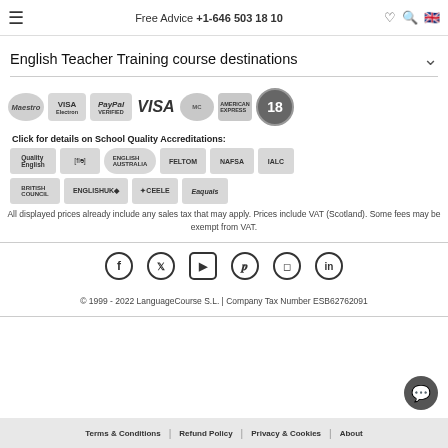Free Advice +1-646 503 18 10
English Teacher Training course destinations
[Figure (logo): Payment logos: Maestro, VISA Electron, PayPal VERIFIED, VISA, MasterCard, American Express, 18 years badge]
Click for details on School Quality Accreditations:
[Figure (logo): Accreditation logos: Quality English, flo, English Australia, FELTOM, NAFSA, IALC, British Council, EnglishUK, CEELE, Eaquals]
All displayed prices already include any sales tax that may apply. Prices include VAT (Scotland). Some fees may be exempt from VAT.
[Figure (logo): Social media icons: Facebook, Twitter, YouTube, Pinterest, Instagram, LinkedIn]
© 1999 - 2022 LanguageCourse S.L. | Company Tax Number ESB62762091
Terms & Conditions | Refund Policy | Privacy & Cookies | About